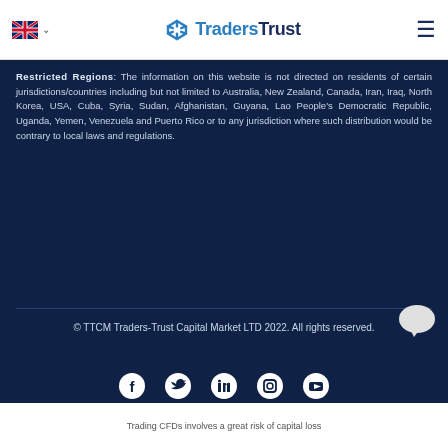TradersTrust
Restricted Regions: The information on this website is not directed on residents of certain jurisdictions/countries including but not limited to Australia, New Zealand, Canada, Iran, Iraq, North Korea, USA, Cuba, Syria, Sudan, Afghanistan, Guyana, Lao People's Democratic Republic, Uganda, Yemen, Venezuela and Puerto Rico or to any jurisdiction where such distribution would be contrary to local laws and regulations.
© TTCM Traders-Trust Capital Market LTD 2022. All rights reserved.
[Figure (infographic): Social media icons: Facebook, Twitter, LinkedIn, Instagram, YouTube]
Trading CFDs involves a great risk of capital loss